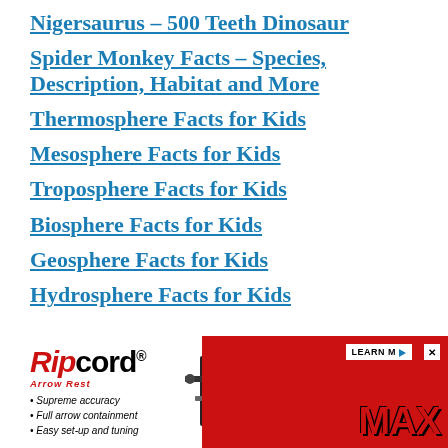Nigersaurus – 500 Teeth Dinosaur
Spider Monkey Facts – Species, Description, Habitat and More
Thermosphere Facts for Kids
Mesosphere Facts for Kids
Troposphere Facts for Kids
Biosphere Facts for Kids
Geosphere Facts for Kids
Hydrosphere Facts for Kids
[Figure (screenshot): Ripcord Arrow Rest advertisement banner with red and white background, product logo, bullet points about supreme accuracy, full arrow containment, easy set-up and tuning, and MAX branding with product image. Includes LEARN MORE button and close button.]